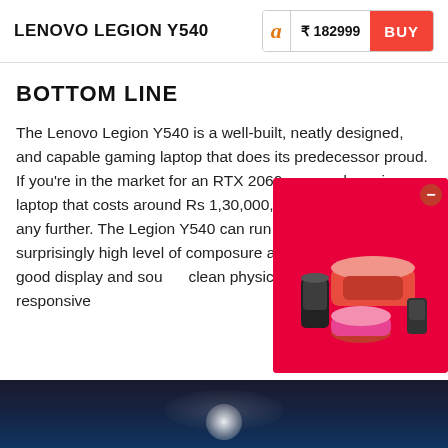LENOVO LEGION Y540 | ₹ 182999 BUY
BOTTOM LINE
The Lenovo Legion Y540 is a well-built, neatly designed, and capable gaming laptop that does its predecessor proud. If you're in the market for an RTX 2060-powered gaming laptop that costs around Rs 1,30,000, then you needn't look any further. The Legion Y540 can run new AAA titles with a surprisingly high level of composure and strengths include good display and sound, clean physical design, and a responsive
[Figure (photo): Advertisement overlay showing kitchen appliances (blender, slow cooker, mixer) on red/pink background with 3D box icon and close button]
[Figure (photo): Dark atmospheric gaming scene screenshot at bottom of page, dark blue/black tones with a bright circular light element in the center]